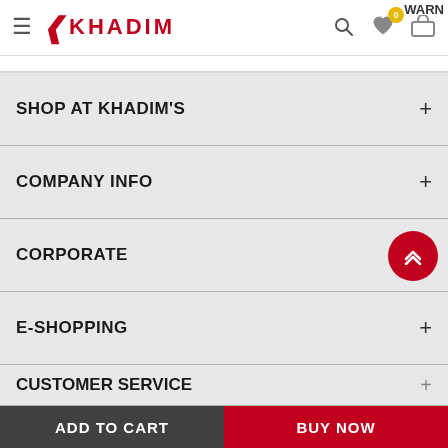WARN
[Figure (logo): Khadim logo with red K and KHADIM text, hamburger menu icon, search icon, heart with badge 0, cart icon]
SHOP AT KHADIM'S
COMPANY INFO
CORPORATE
E-SHOPPING
CUSTOMER SERVICE
ADD TO CART
BUY NOW